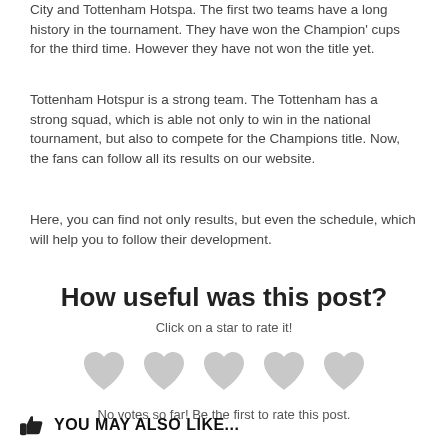City and Tottenham Hotspa. The first two teams have a long history in the tournament. They have won the Champion' cups for the third time. However they have not won the title yet.
Tottenham Hotspur is a strong team. The Tottenham has a strong squad, which is able not only to win in the national tournament, but also to compete for the Champions title. Now, the fans can follow all its results on our website.
Here, you can find not only results, but even the schedule, which will help you to follow their development.
How useful was this post?
Click on a star to rate it!
[Figure (illustration): Five heart icons in light gray, used as a rating widget]
No votes so far! Be the first to rate this post.
YOU MAY ALSO LIKE...